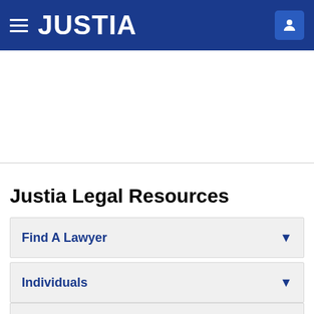JUSTIA
Justia Legal Resources
Find A Lawyer
Individuals
Business
Law Students